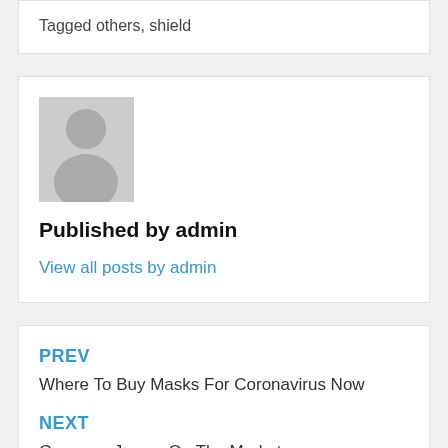Tagged others, shield
[Figure (illustration): Default avatar placeholder image showing a generic person silhouette in gray]
Published by admin
View all posts by admin
PREV
Where To Buy Masks For Coronavirus Now
NEXT
Germany Jersey On The Market